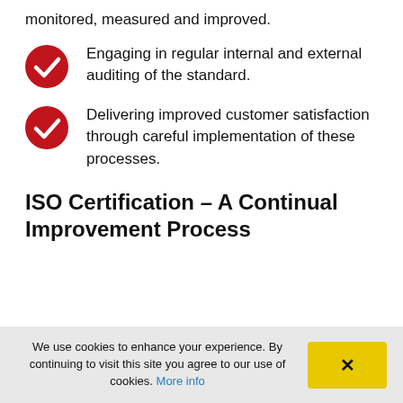monitored, measured and improved.
Engaging in regular internal and external auditing of the standard.
Delivering improved customer satisfaction through careful implementation of these processes.
ISO Certification – A Continual Improvement Process
We use cookies to enhance your experience. By continuing to visit this site you agree to our use of cookies. More info